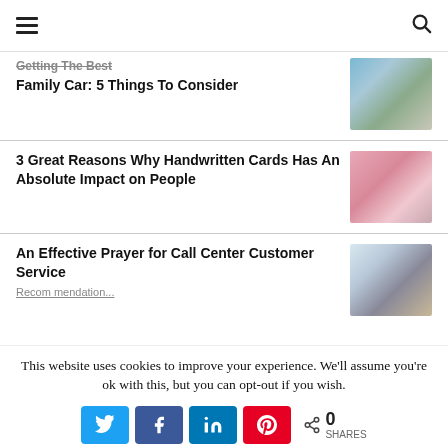☰   🔍
Getting The Best Family Car: 5 Things To Consider
[Figure (photo): Family with a car near mountains]
3 Great Reasons Why Handwritten Cards Has An Absolute Impact on People
[Figure (photo): Pink rose on stationery cards]
An Effective Prayer for Call Center Customer Service
[Figure (photo): Call center office with workers at computers]
This website uses cookies to improve your experience. We'll assume you're ok with this, but you can opt-out if you wish.
< 0 SHARES